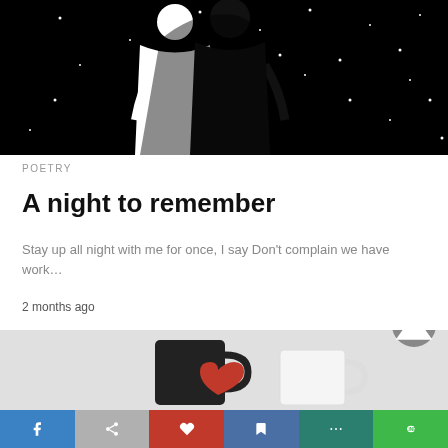[Figure (illustration): Black and white silhouette illustration of a couple standing together under a starry night sky]
POETRY
A night to remember
Stay up all night with me for once, I say Don't complain we have work…
2 months ago
[Figure (photo): Two mugs (one black, one white) with heart decorations on a light gray background]
Social share bar with Facebook, share, heart, bookmark, more, and LINE buttons